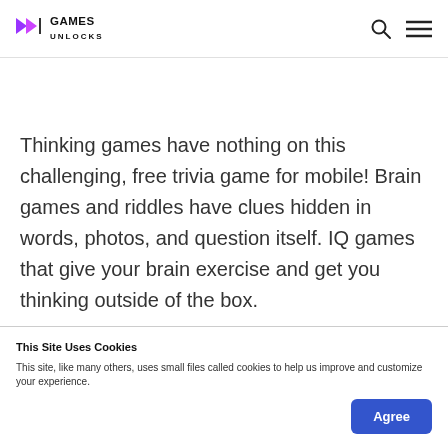GAMES UNLOCKS
Thinking games have nothing on this challenging, free trivia game for mobile! Brain games and riddles have clues hidden in words, photos, and question itself. IQ games that give your brain exercise and get you thinking outside of the box.
This Site Uses Cookies
This site, like many others, uses small files called cookies to help us improve and customize your experience.